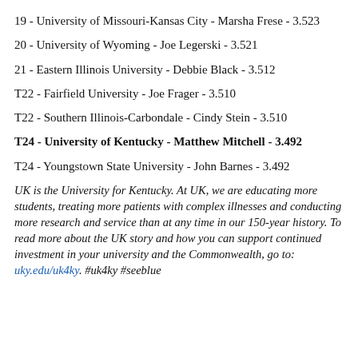19 - University of Missouri-Kansas City - Marsha Frese - 3.523
20 - University of Wyoming - Joe Legerski - 3.521
21 - Eastern Illinois University - Debbie Black - 3.512
T22 - Fairfield University - Joe Frager - 3.510
T22 - Southern Illinois-Carbondale - Cindy Stein - 3.510
T24 - University of Kentucky - Matthew Mitchell - 3.492
T24 - Youngstown State University - John Barnes - 3.492
UK is the University for Kentucky. At UK, we are educating more students, treating more patients with complex illnesses and conducting more research and service than at any time in our 150-year history. To read more about the UK story and how you can support continued investment in your university and the Commonwealth, go to: uky.edu/uk4ky. #uk4ky #seeblue